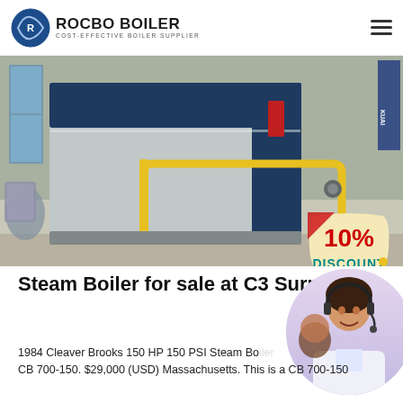ROCBO BOILER — COST-EFFECTIVE BOILER SUPPLIER
[Figure (photo): Industrial steam boiler unit (silver/dark blue) installed in a warehouse setting with yellow piping. A '10% DISCOUNT' badge overlaid in bottom right corner.]
Steam Boiler for sale at C3 Surplus
[Figure (photo): Customer service representative woman wearing a headset, smiling, with another person visible behind her.]
1984 Cleaver Brooks 150 HP 150 PSI Steam Bo... CB 700-150. $29,000 (USD) Massachusetts. This is a CB 700-150